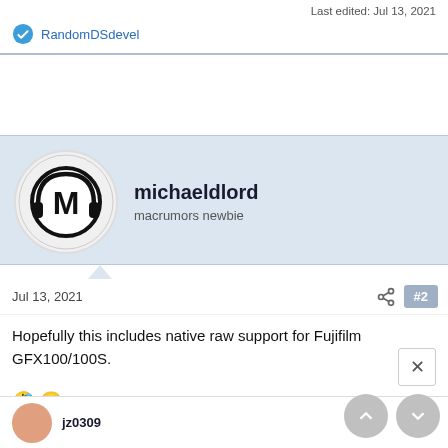Last edited: Jul 13, 2021
RandomDSdevel
michaeldlord
macrumors newbie
Jul 13, 2021
#2
Hopefully this includes native raw support for Fujifilm GFX100/100S.
🤣 😐 Babygotfont and The_Martini_Cat
jz0309